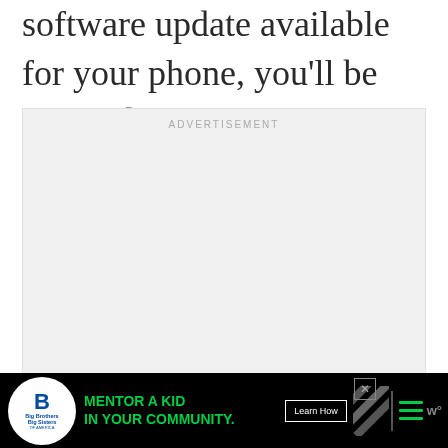software update available for your phone, you'll be notified on the main screen.
[Figure (other): Advertisement placeholder box with light gray background and 'ADVERTISEMENT' label at top]
[Figure (other): Bottom banner ad for Big Brothers Big Sisters of America: 'MENTOR A KID IN YOUR COMMUNITY.' with Learn How button, diagonal stripes graphic, green hamburger menu, close X button, and WW logo on black background]